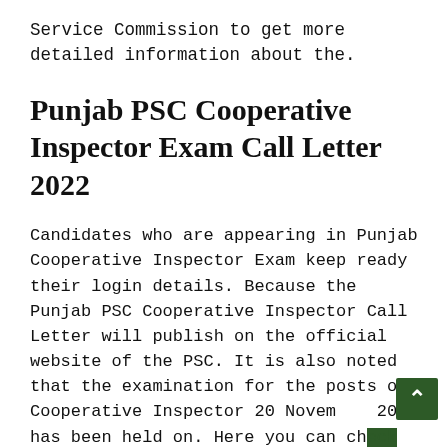Service Commission to get more detailed information about the.
Punjab PSC Cooperative Inspector Exam Call Letter 2022
Candidates who are appearing in Punjab Cooperative Inspector Exam keep ready their login details. Because the Punjab PSC Cooperative Inspector Call Letter will publish on the official website of the PSC. It is also noted that the examination for the posts of Cooperative Inspector 20 November 2022 has been held on. Here you can check PPSC Exam Dates. Moreover, the PSC will